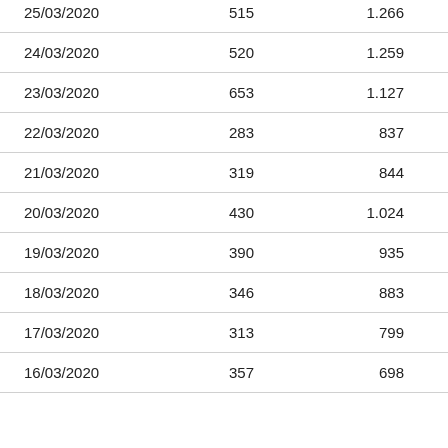| 25/03/2020 | 515 | 1.266 | 1 |
| 24/03/2020 | 520 | 1.259 | 0 |
| 23/03/2020 | 653 | 1.127 | 0 |
| 22/03/2020 | 283 | 837 | 0 |
| 21/03/2020 | 319 | 844 | 0 |
| 20/03/2020 | 430 | 1.024 | 1 |
| 19/03/2020 | 390 | 935 | 0 |
| 18/03/2020 | 346 | 883 | 0 |
| 17/03/2020 | 313 | 799 | 1 |
| 16/03/2020 | 357 | 698 | 0 |